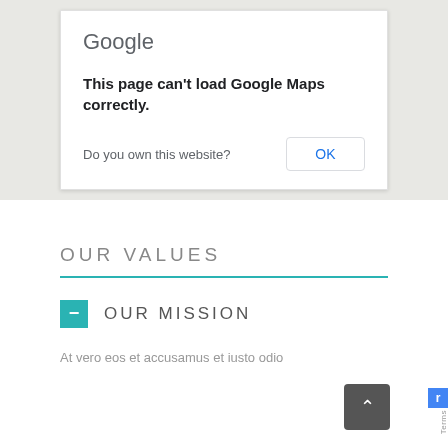[Figure (screenshot): Google Maps error dialog on a grey map background. Dialog says 'Google', 'This page can't load Google Maps correctly.', 'Do you own this website?' with an OK button.]
OUR VALUES
OUR MISSION
At vero eos et accusamus et iusto odio